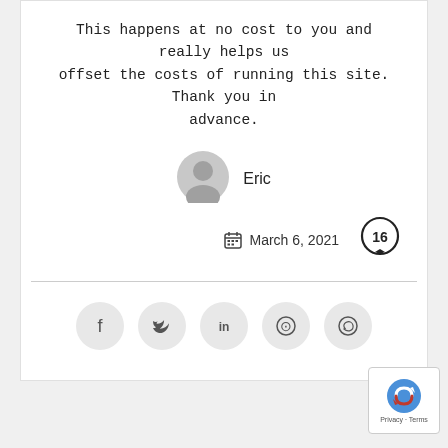This happens at no cost to you and really helps us offset the costs of running this site. Thank you in advance.
[Figure (illustration): Avatar icon (circular grey silhouette) next to author name Eric]
Eric
March 6, 2021
[Figure (illustration): Speech bubble with number 16 indicating 16 comments]
[Figure (illustration): Social sharing icons: Facebook, Twitter, LinkedIn, Pinterest, WhatsApp]
[Figure (illustration): reCAPTCHA badge with arrow icon and Privacy-Terms text]